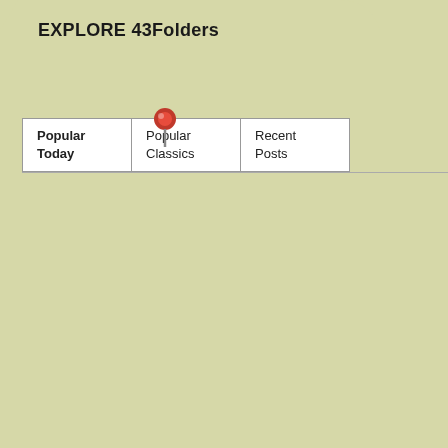EXPLORE 43Folders
| Popular Today | Popular Classics | Recent Posts |
| --- | --- | --- |
An Oblique Strategy: Honor thy error as a hidden intention
STAY IN THE LOOP:
1404 readers
BY FEEDBURNER
+ Google
+ netvibes
+ Technorati
+ Pageflakes
RSS Feed
Podcast